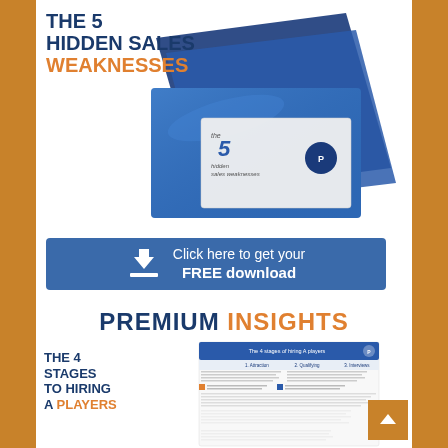THE 5 HIDDEN SALES WEAKNESSES
[Figure (illustration): Stack of blue books/folders with a white booklet in front showing 'the 5 hidden sales weaknesses' text and a logo]
Click here to get your FREE download
PREMIUM INSIGHTS
THE 4 STAGES TO HIRING A PLAYERS
[Figure (illustration): Document/report preview showing 'The 4 stages of hiring A players' with a table and checklist content]